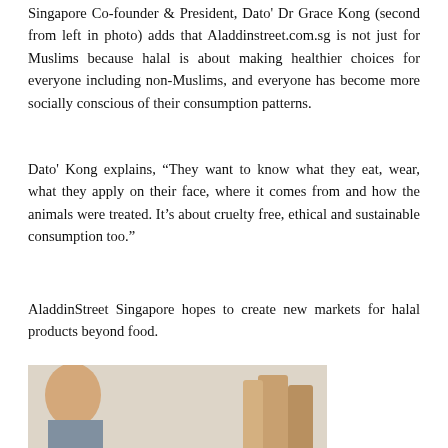Singapore Co-founder & President, Dato' Dr Grace Kong (second from left in photo) adds that Aladdinstreet.com.sg is not just for Muslims because halal is about making healthier choices for everyone including non-Muslims, and everyone has become more socially conscious of their consumption patterns.
Dato' Kong explains, “They want to know what they eat, wear, what they apply on their face, where it comes from and how the animals were treated. It’s about cruelty free, ethical and sustainable consumption too.”
AladdinStreet Singapore hopes to create new markets for halal products beyond food.
[Figure (photo): Photo of NOTE brand cosmetics display table showing lipsticks, foundations and makeup palettes with black trays labeled NOTE]